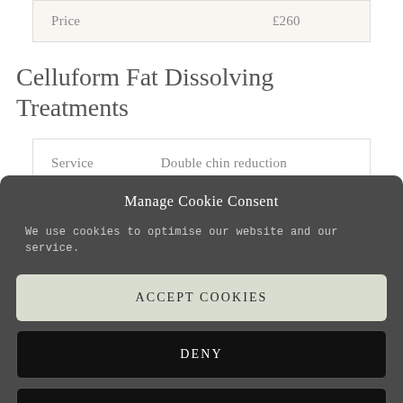| Price | £260 |
Celluform Fat Dissolving Treatments
| Service | Double chin reduction |
Manage Cookie Consent
We use cookies to optimise our website and our service.
ACCEPT COOKIES
DENY
VIEW PREFERENCES